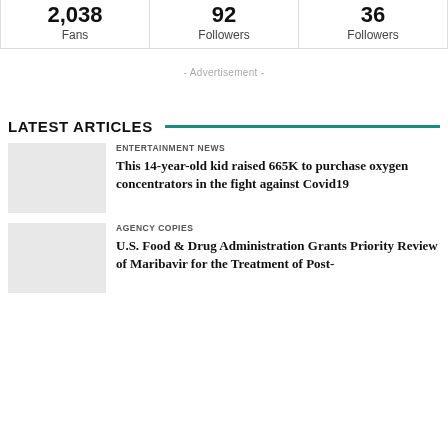|  |  |  |
| --- | --- | --- |
| 2,038
Fans | 92
Followers | 36
Followers |
- Advertisement -
LATEST ARTICLES
ENTERTAINMENT NEWS
This 14-year-old kid raised 665K to purchase oxygen concentrators in the fight against Covid19
AGENCY COPIES
U.S. Food & Drug Administration Grants Priority Review of Maribavir for the Treatment of Post-